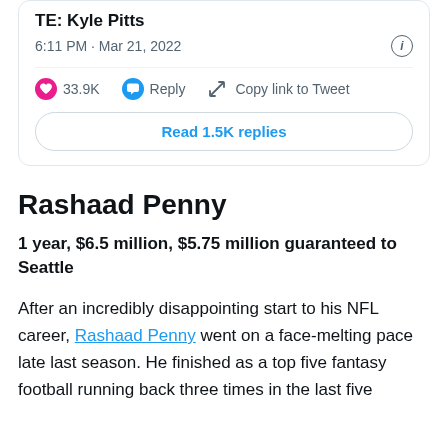[Figure (screenshot): Twitter/X tweet card showing TE: Kyle Pitts with timestamp 6:11 PM · Mar 21, 2022, 33.9K likes, Reply, Copy link to Tweet actions, and Read 1.5K replies button]
Rashaad Penny
1 year, $6.5 million, $5.75 million guaranteed to Seattle
After an incredibly disappointing start to his NFL career, Rashaad Penny went on a face-melting pace late last season. He finished as a top five fantasy football running back three times in the last five